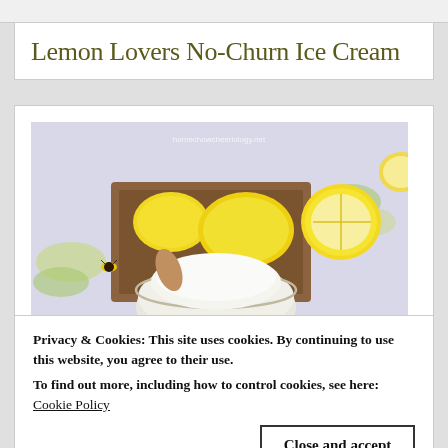Lemon Lovers No-Churn Ice Cream
[Figure (photo): Top-down view of lemon ice cream in a glass bowl with whole lemons, lemon halves, green leaves, and a bee on a decorative surface. Watermark reads homechowcheeriology.net]
Privacy & Cookies: This site uses cookies. By continuing to use this website, you agree to their use.
To find out more, including how to control cookies, see here:
Cookie Policy
[Figure (photo): Partial bottom strip showing another food photo, appears warm/golden toned]